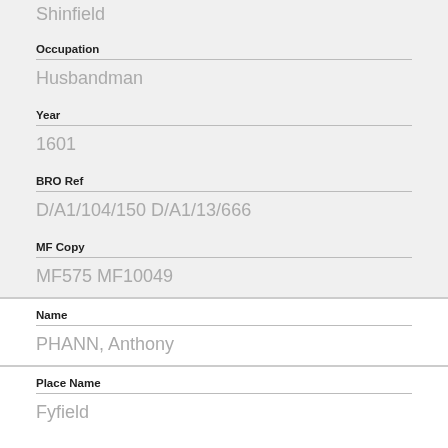Shinfield
Occupation
Husbandman
Year
1601
BRO Ref
D/A1/104/150 D/A1/13/666
MF Copy
MF575 MF10049
Name
PHANN, Anthony
Place Name
Fyfield